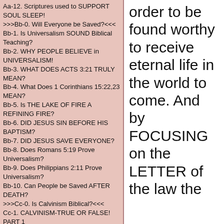Aa-12. Scriptures used to SUPPORT SOUL SLEEP!
>>>Bb-0. Will Everyone be Saved?<<<
Bb-1. Is Universalism SOUND Biblical Teaching?
Bb-2. WHY PEOPLE BELIEVE in UNIVERSALISM!
Bb-3. WHAT DOES ACTS 3:21 TRULY MEAN?
Bb-4. What Does 1 Corinthians 15:22,23 MEAN?
Bb-5. Is THE LAKE OF FIRE A REFINING FIRE?
Bb-6. DID JESUS SIN BEFORE HIS BAPTISM?
Bb-7. DID JESUS SAVE EVERYONE?
Bb-8. Does Romans 5:19 Prove Universalism?
Bb-9. Does Philippians 2:11 Prove Universalism?
Bb-10. Can People be Saved AFTER DEATH?
>>>Cc-0. Is Calvinism Biblical?<<<
Cc-1. CALVINISM-TRUE OR FALSE! PART 1
Cc-2. CALVINISM-TOTAL DEPRAVITY! PART 2
Cc-3. CALVINISM-TOTAL DEPRAVITY! PART 3
Cc-4. CALVINISM-Unconditional ELECTION! PART 4
Cc-5. CALVINISM-Unconditional ELECTION! PART 5
Cc-6 CALVINISM-LIMITED ATONEMENT! PART 6
Cc-7. CALVINISM - IRRESISTABLE GRACE! PART 7
Cc-8. CALVINISM-Perseverance of the Saints Part 8
Cc-9. ARE WE SAVED BY GRACE ALONE?
Cc-10. Is WATER BAPTISM a WORK?
Cc-11. SOUND BIBLICAL PREDESTINATION!
order to be found worthy to receive eternal life in the world to come. And by FOCUSING on the LETTER of the law the